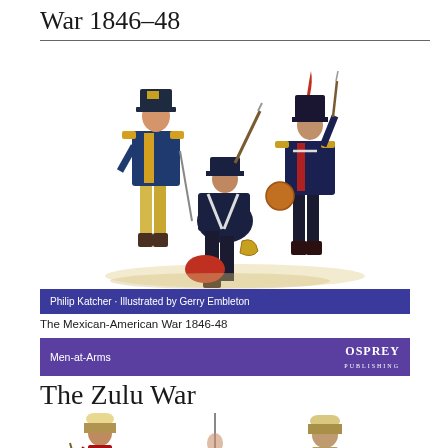War 1846–48
[Figure (illustration): Three military soldiers in uniform from the Mexican-American War era, illustrated in color]
Philip Katcher · Illustrated by Gerry Embleton
The Mexican-American War 1846-48
Men-at-Arms
The Zulu War
[Figure (illustration): Partial illustration showing soldiers from the Zulu War era]